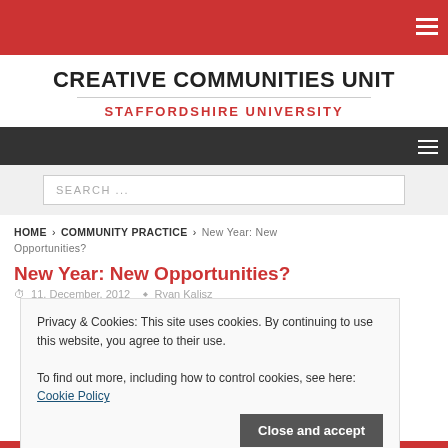CREATIVE COMMUNITIES UNIT — STAFFORDSHIRE UNIVERSITY
SEARCH ...
HOME › COMMUNITY PRACTICE › New Year: New Opportunities?
New Year: New Opportunities?
11, December, 2012   Ryan Kalisz
Privacy & Cookies: This site uses cookies. By continuing to use this website, you agree to their use. To find out more, including how to control cookies, see here: Cookie Policy